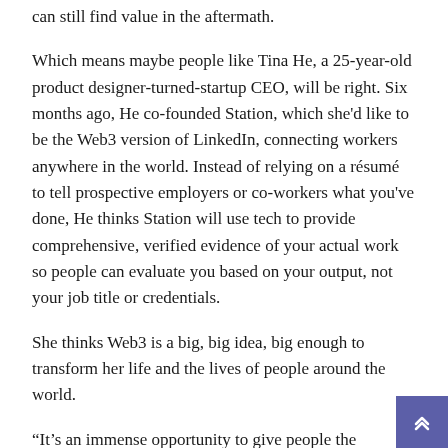can still find value in the aftermath.
Which means maybe people like Tina He, a 25-year-old product designer-turned-startup CEO, will be right. Six months ago, He co-founded Station, which she'd like to be the Web3 version of LinkedIn, connecting workers anywhere in the world. Instead of relying on a résumé to tell prospective employers or co-workers what you've done, He thinks Station will use tech to provide comprehensive, verified evidence of your actual work so people can evaluate you based on your output, not your job title or credentials.
She thinks Web3 is a big, big idea, big enough to transform her life and the lives of people around the world.
“It’s an immense opportunity to give people the